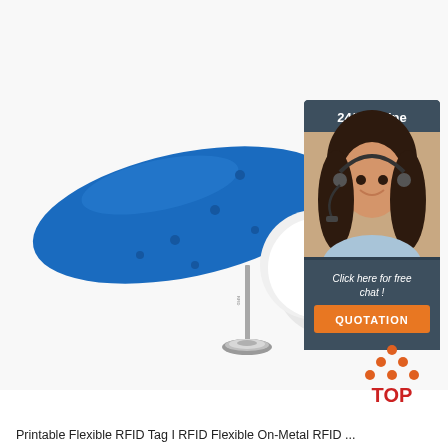[Figure (photo): Product photo of a blue flexible RFID tag (oval/pill shaped) with a metal nail/pin and circular base, placed on a white surface. A white dome shape is visible to the right of the tag.]
[Figure (photo): Chat widget overlay showing a woman wearing a headset (customer service representative) with text '24/7 Online', 'Click here for free chat!', and an orange 'QUOTATION' button, on a dark gray background.]
[Figure (logo): TOP logo with orange triangle/arrow pointing up made of dots, and red 'TOP' text below.]
Printable Flexible RFID Tag I RFID Flexible On-Metal RFID ...